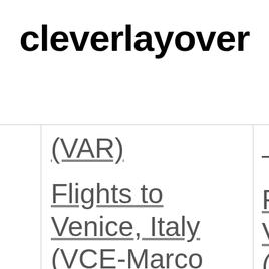cleverlayover
(VAR)
Flights to Venice, Italy (VCE-Marco Polo)
Fli... Vic... (V... Fo...
Fli...